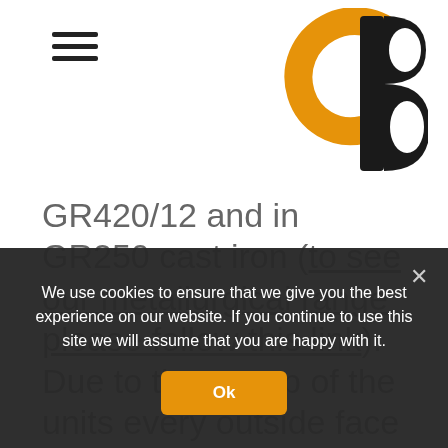GR420/12 and in GR250 cast iron (to see our metallurgical range please follow this link). Due to the set up of the units every outside face had to be machined in house to leave a 1mm gap between the units on all faces. Once machined, all castings were checked by our quality department, to ensure the aesthetic and structural integrity of the units.
We use cookies to ensure that we give you the best experience on our website. If you continue to use this site we will assume that you are happy with it.